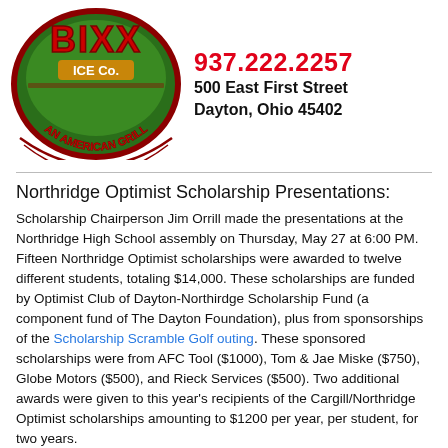[Figure (logo): Bixx Ice Co. An American Grill logo — circular badge with green and red design, featuring the brand name and tagline]
937.222.2257
500 East First Street
Dayton, Ohio 45402
Northridge Optimist Scholarship Presentations:
Scholarship Chairperson Jim Orrill made the presentations at the Northridge High School assembly on Thursday, May 27 at 6:00 PM. Fifteen Northridge Optimist scholarships were awarded to twelve different students, totaling $14,000. These scholarships are funded by Optimist Club of Dayton-Northirdge Scholarship Fund (a component fund of The Dayton Foundation), plus from sponsorships of the Scholarship Scramble Golf outing. These sponsored scholarships were from AFC Tool ($1000), Tom & Jae Miske ($750), Globe Motors ($500), and Rieck Services ($500). Two additional awards were given to this year's recipients of the Cargill/Northridge Optimist scholarships amounting to $1200 per year, per student, for two years.